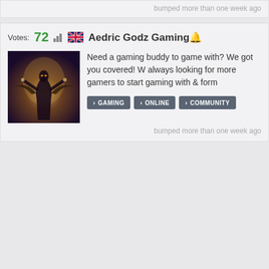bumped more than one week ago
Votes: 72
Aedric Godz Gaming
Need a gaming buddy to game with? We got you covered! W always looking for more gamers to start gaming with & form
GAMING
ONLINE
COMMUNITY
bumped more than one week ago